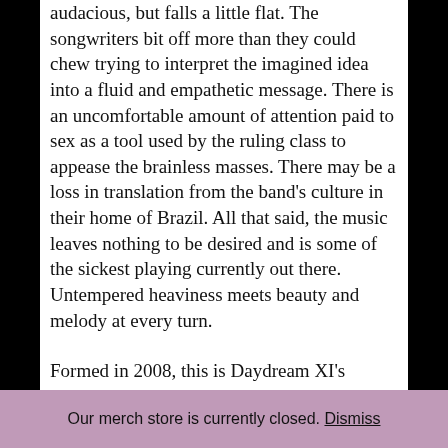audacious, but falls a little flat. The songwriters bit off more than they could chew trying to interpret the imagined idea into a fluid and empathetic message. There is an uncomfortable amount of attention paid to sex as a tool used by the ruling class to appease the brainless masses. There may be a loss in translation from the band's culture in their home of Brazil. All that said, the music leaves nothing to be desired and is some of the sickest playing currently out there. Untempered heaviness meets beauty and melody at every turn.
Formed in 2008, this is Daydream XI's
Our merch store is currently closed. Dismiss